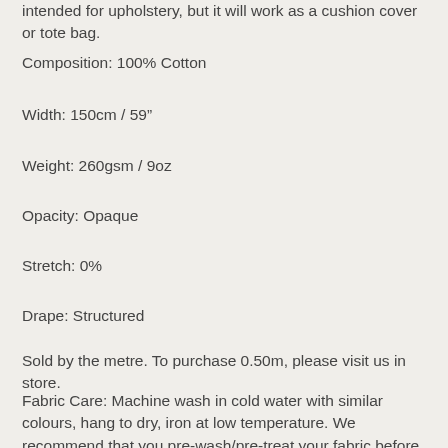intended for upholstery, but it will work as a cushion cover or tote bag.
Composition: 100% Cotton
Width: 150cm / 59"
Weight: 260gsm / 9oz
Opacity: Opaque
Stretch: 0%
Drape: Structured
Sold by the metre. To purchase 0.50m, please visit us in store.
Fabric Care: Machine wash in cold water with similar colours, hang to dry, iron at low temperature. We recommend that you pre-wash/pre-treat your fabric before you begin constructing your garment, this will allow for any shrinkage.